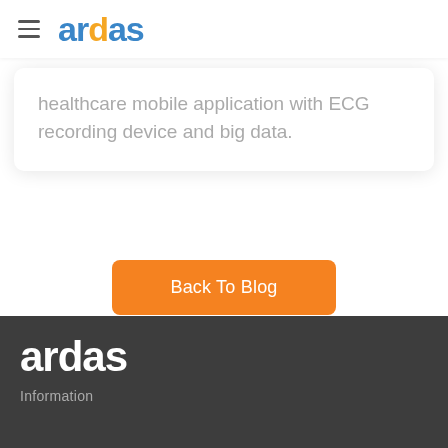ardas
healthcare mobile application with ECG recording device and big data.
Back To Blog
ardas
Information